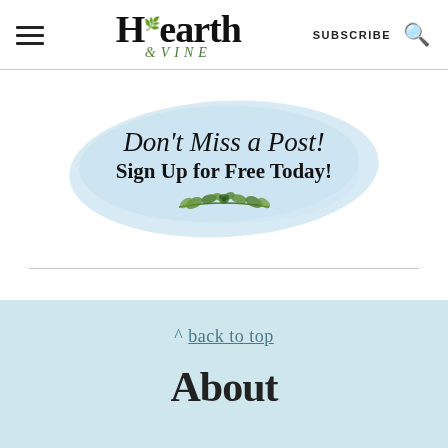Hearth & VINE — SUBSCRIBE (search icon)
[Figure (illustration): Watercolor blue splash banner with cursive text 'Don't Miss a Post! Sign Up for Free Today!' and decorative green leaf branch below text]
^ back to top
About